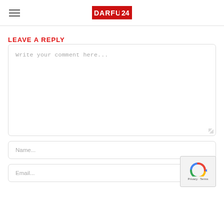DARFUR 24 [logo]
LEAVE A REPLY
Write your comment here...
Name...
Email...